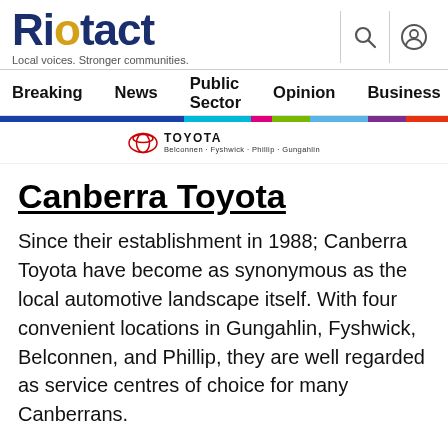Riatact — Local voices. Stronger communities.
Breaking  News  Public Sector  Opinion  Business
[Figure (logo): Canberra Toyota advertisement banner with Toyota oval logo and text: TOYOTA Belconnen · Fyshwick · Phillip · Gungahlin]
Canberra Toyota
Since their establishment in 1988; Canberra Toyota have become as synonymous as the local automotive landscape itself. With four convenient locations in Gungahlin, Fyshwick, Belconnen, and Phillip, they are well regarded as service centres of choice for many Canberrans.